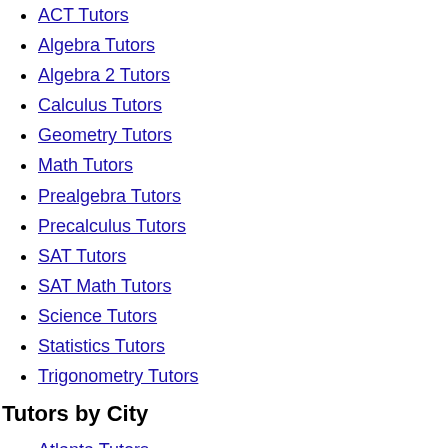ACT Tutors
Algebra Tutors
Algebra 2 Tutors
Calculus Tutors
Geometry Tutors
Math Tutors
Prealgebra Tutors
Precalculus Tutors
SAT Tutors
SAT Math Tutors
Science Tutors
Statistics Tutors
Trigonometry Tutors
Tutors by City
Atlanta Tutors
Boston Tutors
Chicago Tutors
Dallas Tutors
Denver Tutors
Houston Tutors
Los Angeles Tutors
Miami Tutors
Minneapolis Tutors